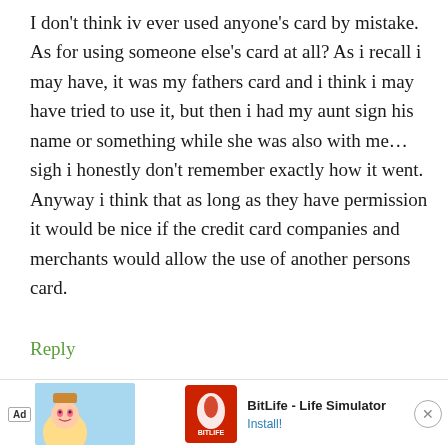I don't think iv ever used anyone's card by mistake. As for using someone else's card at all? As i recall i may have, it was my fathers card and i think i may have tried to use it, but then i had my aunt sign his name or something while she was also with me…sigh i honestly don't remember exactly how it went. Anyway i think that as long as they have permission it would be nice if the credit card companies and merchants would allow the use of another persons card.
Reply
Mega
[Figure (screenshot): Advertisement banner for BitLife - Life Simulator app with Ad badge, cartoon character image, app icon, title text, and Install button]